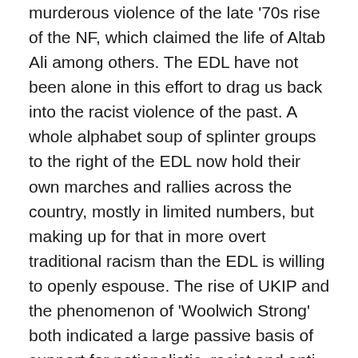murderous violence of the late '70s rise of the NF, which claimed the life of Altab Ali among others. The EDL have not been alone in this effort to drag us back into the racist violence of the past. A whole alphabet soup of splinter groups to the right of the EDL now hold their own marches and rallies across the country, mostly in limited numbers, but making up for that in more overt traditional racism than the EDL is willing to openly espouse. The rise of UKIP and the phenomenon of 'Woolwich Strong' both indicated a large passive basis of support for nationalistic, racist and anti-immigrant politics. And all along official state racism has been providing the grounding context for this, slowly shifting the middle ground of politics to the right with its normalising of 'go home' rhetoric. The government not-so-subtly borrowed the idea of the BNP's 'truth truck', turning it into the UK Border Agency's notorious 'racist van' and has introduced squads of Border Agency staff illegally